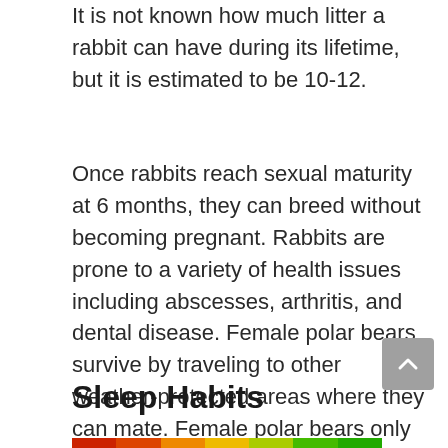It is not known how much litter a rabbit can have during its lifetime, but it is estimated to be 10-12.
Once rabbits reach sexual maturity at 6 months, they can breed without becoming pregnant. Rabbits are prone to a variety of health issues including abscesses, arthritis, and dental disease. Female polar bears survive by traveling to other weather-protected areas where they can mate. Female polar bears only give birth to cubs once every two years, but males don't usually have sex until they're 2 years old.
Sleep Habits